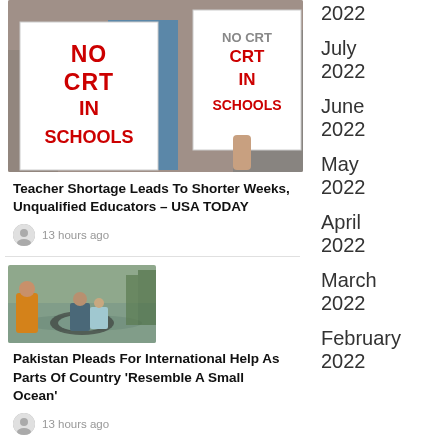[Figure (photo): Protesters holding signs reading NO CRT IN SCHOOLS]
Teacher Shortage Leads To Shorter Weeks, Unqualified Educators – USA TODAY
13 hours ago
[Figure (photo): Flood scene with people in water using an inflatable tube]
Pakistan Pleads For International Help As Parts Of Country 'Resemble A Small Ocean'
13 hours ago
2022
July 2022
June 2022
May 2022
April 2022
March 2022
February 2022